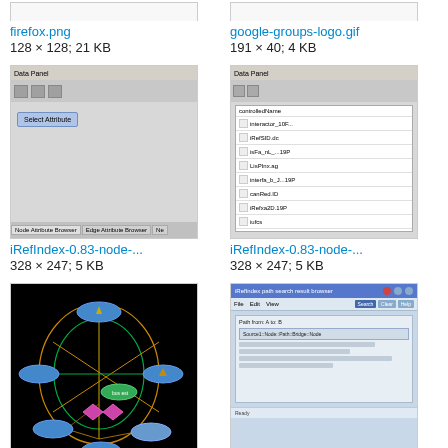[Figure (screenshot): Thumbnail of firefox.png (partially visible at top)]
[Figure (screenshot): Thumbnail of google-groups-logo.gif (partially visible at top)]
firefox.png
128 × 128; 21 KB
google-groups-logo.gif
191 × 40; 4 KB
[Figure (screenshot): iRefIndex-0.83-node- screenshot showing Data Panel with Node Attribute Browser]
[Figure (screenshot): iRefIndex-0.83-node- screenshot showing Data Panel with file list]
iRefIndex-0.83-node-...
328 × 247; 5 KB
iRefIndex-0.83-node-...
328 × 247; 5 KB
[Figure (network-graph): iRefIndex-0.83-path-o... network graph visualization with black background, blue oval nodes, magenta diamond nodes, and orange/green edges]
[Figure (screenshot): iRefIndex-0.83-path-s... screenshot of a software UI with light blue background and file path browser]
iRefIndex-0.83-path-o...
600 × 550; 43 KB
iRefIndex-0.83-path-s...
786 × 609; 32 KB